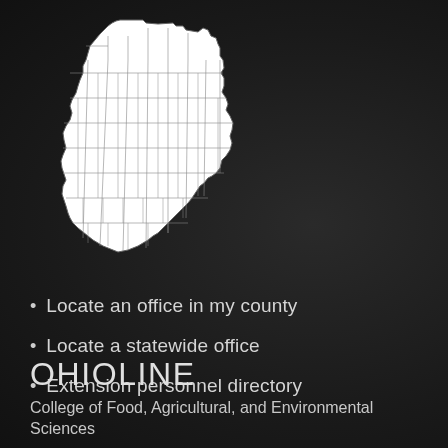[Figure (map): White outline map of Ohio showing county divisions on a dark background]
Locate an office in my county
Locate a statewide office
Extension personnel directory
OHIOLINE
College of Food, Agricultural, and Environmental Sciences